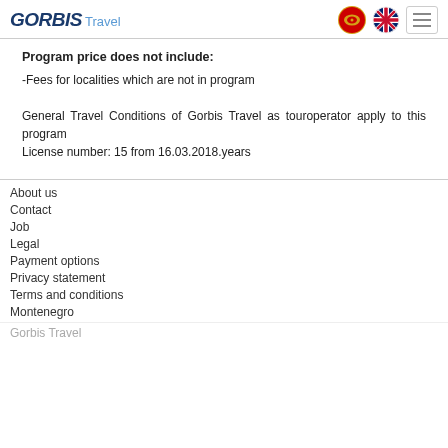GORBIS Travel
Program price does not include:
-Fees for localities which are not in program
General Travel Conditions of Gorbis Travel as touroperator apply to this program
License number: 15 from 16.03.2018.years
About us
Contact
Job
Legal
Payment options
Privacy statement
Terms and conditions
Montenegro
Gorbis Travel